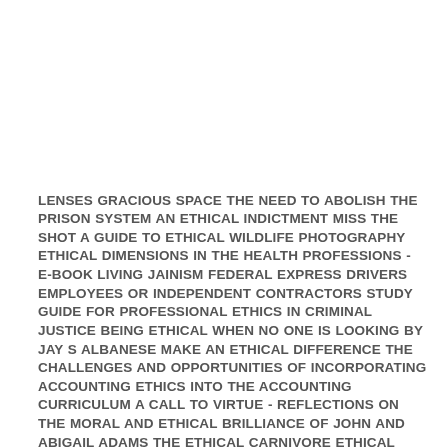LENSES GRACIOUS SPACE THE NEED TO ABOLISH THE PRISON SYSTEM AN ETHICAL INDICTMENT MISS THE SHOT A GUIDE TO ETHICAL WILDLIFE PHOTOGRAPHY ETHICAL DIMENSIONS IN THE HEALTH PROFESSIONS - E-BOOK LIVING JAINISM FEDERAL EXPRESS DRIVERS EMPLOYEES OR INDEPENDENT CONTRACTORS STUDY GUIDE FOR PROFESSIONAL ETHICS IN CRIMINAL JUSTICE BEING ETHICAL WHEN NO ONE IS LOOKING BY JAY S ALBANESE MAKE AN ETHICAL DIFFERENCE THE CHALLENGES AND OPPORTUNITIES OF INCORPORATING ACCOUNTING ETHICS INTO THE ACCOUNTING CURRICULUM A CALL TO VIRTUE - REFLECTIONS ON THE MORAL AND ETHICAL BRILLIANCE OF JOHN AND ABIGAIL ADAMS THE ETHICAL CARNIVORE ETHICAL NATURALISM IN THE THOUGHT OF EDWARD O WILSON A CRITICAL REVIEW OF HIS MAJOR WORKS CRITICAL ESSAY THE TEN COMMANDMENTS OF